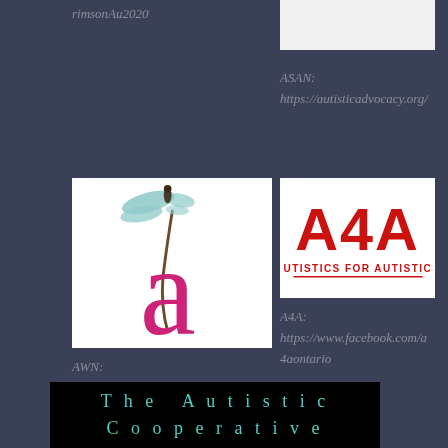rimsonAu2020
[Figure (logo): ASAN logo - white/light rectangle]
ASAN:
https://autisticadvocacy.org/
[Figure (logo): AWN logo - pink letter 'a' with dragonfly on top]
[Figure (logo): A4A logo - red text 'A4A' with 'AUTISTICS FOR AUTISTICS' below]
AWN:
https://awnnetwork.org/
A4A:
https://www.facebook.com/a4aontario
[Figure (logo): The Autistic Cooperative logo - teal text on black background]